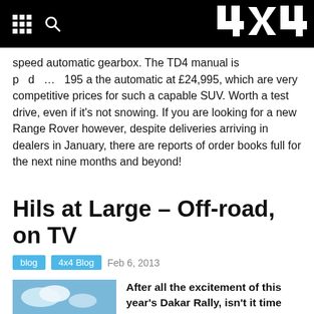4x4 blog navigation header
speed automatic gearbox. The TD4 manual is p d … 195 a the automatic at £24,995, which are very competitive prices for such a capable SUV. Worth a test drive, even if it's not snowing. If you are looking for a new Range Rover however, despite deliveries arriving in dealers in January, there are reports of order books full for the next nine months and beyond!
Hils at Large – Off-road, on TV
blog  4x4 Blog  Feb 6, 2013
[Figure (photo): Person in red jacket standing beside a 4x4 vehicle outdoors with blue sky]
After all the excitement of this year's Dakar Rally, isn't it time that we had some more decent off-road racing on the TV?

Don't know about you, but I have been glued to the